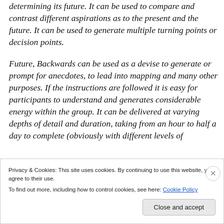determining its future. It can be used to compare and contrast different aspirations as to the present and the future. It can be used to generate multiple turning points or decision points.
Future, Backwards can be used as a devise to generate or prompt for anecdotes, to lead into mapping and many other purposes. If the instructions are followed it is easy for participants to understand and generates considerable energy within the group. It can be delivered at varying depths of detail and duration, taking from an hour to half a day to complete (obviously with different levels of
Privacy & Cookies: This site uses cookies. By continuing to use this website, you agree to their use.
To find out more, including how to control cookies, see here: Cookie Policy